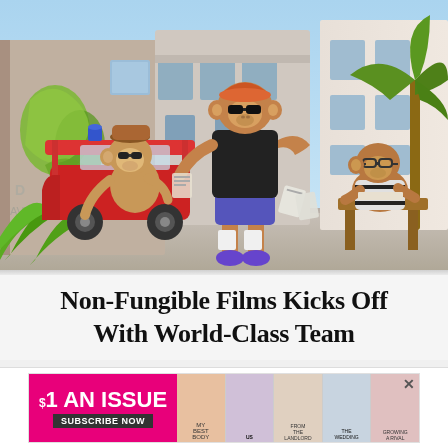[Figure (illustration): Animated 3D illustration showing three cartoon monkey characters in a urban street scene. Center monkey is tall wearing a black shirt and purple shorts, standing confidently. Left monkey is sitting in a red golf cart wearing sunglasses. Right monkey is seated at a wooden desk. Background has colorful graffiti wall, palm tree, and city buildings under a blue sky.]
Non-Fungible Films Kicks Off With World-Class Team
[Figure (other): Advertisement banner: '$1 AN ISSUE' in large white text on pink/magenta background with 'SUBSCRIBE NOW' button, accompanied by US Weekly magazine cover images showing celebrities.]